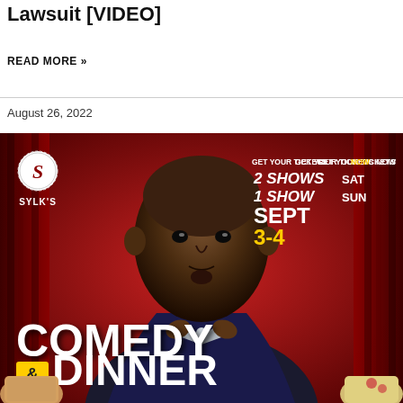Lawsuit [VIDEO]
READ MORE »
August 26, 2022
[Figure (photo): Event promotional flyer for Sylk's Comedy & Dinner show. Features a man in a suit adjusting his bow tie against a red curtain backdrop. Text reads: GET YOUR TICKETS NOW, 2 SHOWS SAT, 1 SHOW SUN, SEPT 3-4, COMEDY & DINNER. Sylk's logo in top left corner. Food plates visible at bottom corners.]